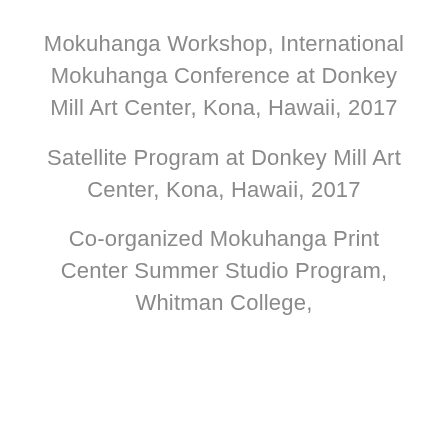Mokuhanga Workshop, International Mokuhanga Conference at Donkey Mill Art Center, Kona, Hawaii, 2017
Satellite Program at Donkey Mill Art Center, Kona, Hawaii, 2017
Co-organized Mokuhanga Print Center Summer Studio Program, Whitman College,